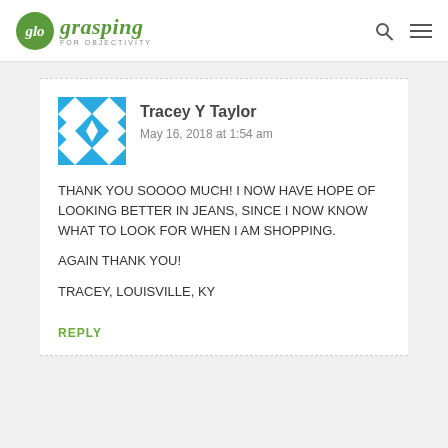glo grasping FOR OBJECTIVITY
Tracey Y Taylor
May 16, 2018 at 1:54 am

THANK YOU SOOOO MUCH! I NOW HAVE HOPE OF LOOKING BETTER IN JEANS, SINCE I NOW KNOW WHAT TO LOOK FOR WHEN I AM SHOPPING.

AGAIN THANK YOU!

TRACEY, LOUISVILLE, KY
REPLY